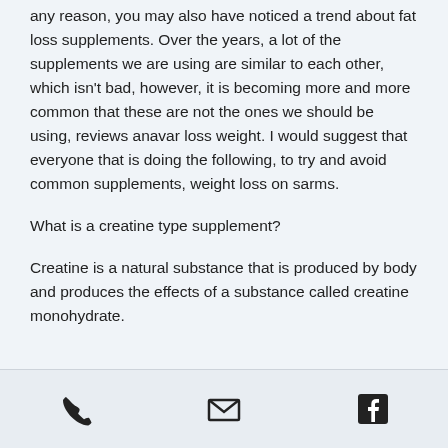any reason, you may also have noticed a trend about fat loss supplements. Over the years, a lot of the supplements we are using are similar to each other, which isn't bad, however, it is becoming more and more common that these are not the ones we should be using, reviews anavar loss weight. I would suggest that everyone that is doing the following, to try and avoid common supplements, weight loss on sarms.
What is a creatine type supplement?
Creatine is a natural substance that is produced by body and produces the effects of a substance called creatine monohydrate.
[phone icon] [email icon] [facebook icon]